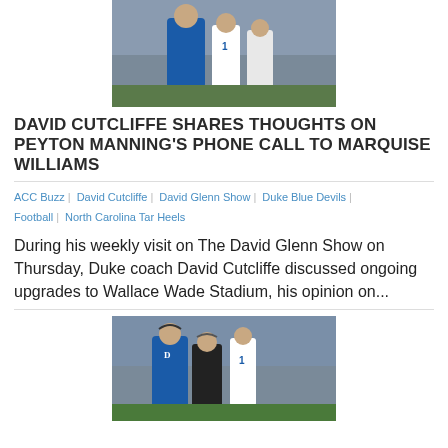[Figure (photo): Duke football coach David Cutcliffe on the sideline with players in blue uniforms, top portion of image]
DAVID CUTCLIFFE SHARES THOUGHTS ON PEYTON MANNING'S PHONE CALL TO MARQUISE WILLIAMS
ACC Buzz | David Cutcliffe | David Glenn Show | Duke Blue Devils | Football | North Carolina Tar Heels
During his weekly visit on The David Glenn Show on Thursday, Duke coach David Cutcliffe discussed ongoing upgrades to Wallace Wade Stadium, his opinion on...
[Figure (photo): Duke football coach David Cutcliffe on the sideline with players, similar to top image, bottom portion of page]